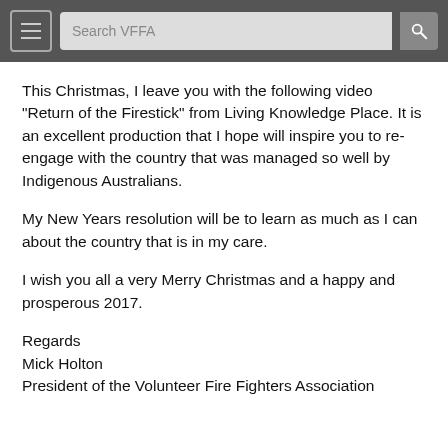Search VFFA
This Christmas, I leave you with the following video “Return of the Firestick” from Living Knowledge Place. It is an excellent production that I hope will inspire you to re-engage with the country that was managed so well by Indigenous Australians.
My New Years resolution will be to learn as much as I can about the country that is in my care.
I wish you all a very Merry Christmas and a happy and prosperous 2017.
Regards
Mick Holton
President of the Volunteer Fire Fighters Association